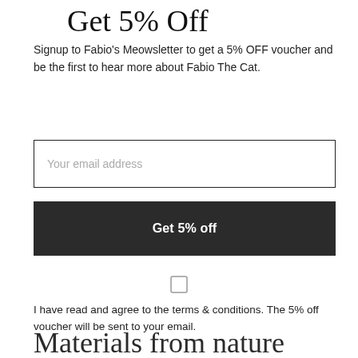Get 5% Off
Signup to Fabio's Meowsletter to get a 5% OFF voucher and be the first to hear more about Fabio The Cat.
Your email address
Get 5% off
I have read and agree to the terms & conditions. The 5% off voucher will be sent to your email.
Materials from nature